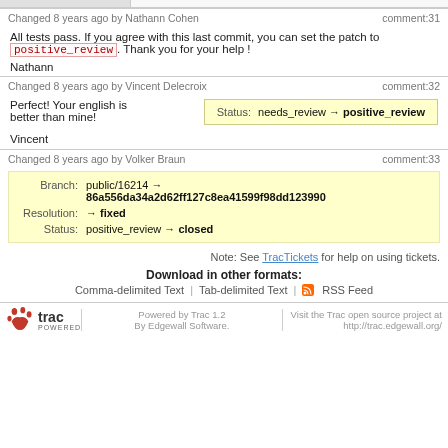Changed 8 years ago by Nathann Cohen  comment:31
All tests pass. If you agree with this last commit, you can set the patch to positive_review. Thank you for your help !
Nathann
Changed 8 years ago by Vincent Delecroix  comment:32
Perfect! Your english is better than mine!
| Status: | needs_review → positive_review |
Vincent
Changed 8 years ago by Volker Braun  comment:33
| Branch: | public/16214 → 86a556da34a2d62ff127c8ea41599f98dd123990 |
| Resolution: | → fixed |
| Status: | positive_review → closed |
Note: See TracTickets for help on using tickets.
Download in other formats:
Comma-delimited Text | Tab-delimited Text | RSS Feed
Powered by Trac 1.2 By Edgewall Software.  Visit the Trac open source project at http://trac.edgewall.org/